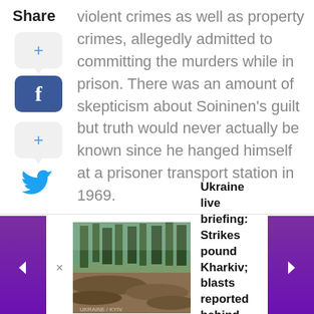violent crimes as well as property crimes, allegedly admitted to committing the murders while in prison. There was an amount of skepticism about Soininen's guilt but truth would never actually be known since he hanged himself at a prisoner transport station in 1969.
[Figure (screenshot): Social share sidebar with Share label, two speech bubble plus buttons, a Facebook blue button, and a Twitter bird icon]
[Figure (photo): Outdoor scene with trees and fallen logs/debris, associated with Ukraine news article]
Ukraine live briefing: Strikes pound Kharkiv; blasts reported behind Russian lines
[Figure (infographic): Pagination dots row with first dot active (pill shape), 10 grey dots, and a scroll-to-top arrow button]